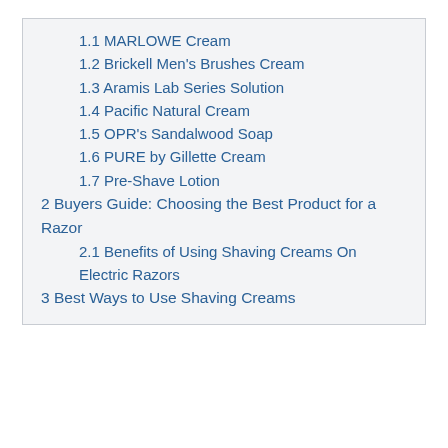1.1 MARLOWE Cream
1.2 Brickell Men's Brushes Cream
1.3 Aramis Lab Series Solution
1.4 Pacific Natural Cream
1.5 OPR's Sandalwood Soap
1.6 PURE by Gillette Cream
1.7 Pre-Shave Lotion
2 Buyers Guide: Choosing the Best Product for a Razor
2.1 Benefits of Using Shaving Creams On Electric Razors
3 Best Ways to Use Shaving Creams